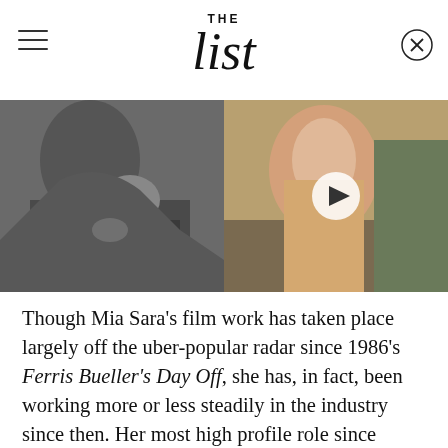THE list
[Figure (photo): Left half: black and white photo of a woman touching a man's tie. Right half: color photo of a smiling brunette woman with a video play button overlay.]
Though Mia Sara's film work has taken place largely off the uber-popular radar since 1986's Ferris Bueller's Day Off, she has, in fact, been working more or less steadily in the industry since then. Her most high profile role since Sloane Peterson, however, was probably as Melissa, the love interest of Jean-Claude Van Damme, in 1994's Timecop.